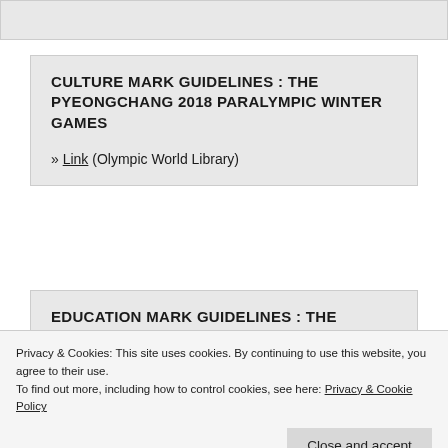CULTURE MARK GUIDELINES : THE PYEONGCHANG 2018 PARALYMPIC WINTER GAMES
» Link (Olympic World Library)
EDUCATION MARK GUIDELINES : THE
Privacy & Cookies: This site uses cookies. By continuing to use this website, you agree to their use.
To find out more, including how to control cookies, see here: Privacy & Cookie Policy
Close and accept